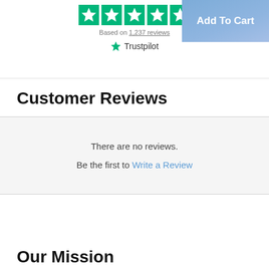[Figure (other): Five teal/green star rating icons in a row]
Based on 1,237 reviews
[Figure (logo): Trustpilot logo with green star icon and Trustpilot text]
[Figure (other): Add To Cart button with blue/purple gradient background]
Customer Reviews
There are no reviews.
Be the first to Write a Review
Our Mission